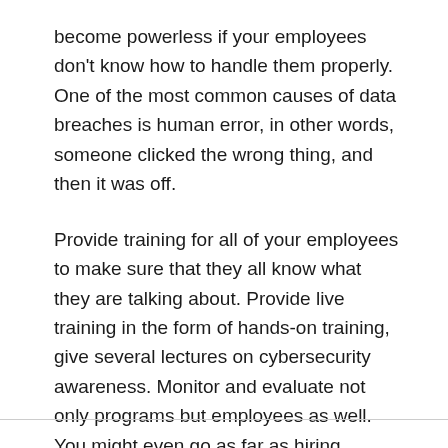become powerless if your employees don't know how to handle them properly. One of the most common causes of data breaches is human error, in other words, someone clicked the wrong thing, and then it was off.
Provide training for all of your employees to make sure that they all know what they are talking about. Provide live training in the form of hands-on training, give several lectures on cybersecurity awareness. Monitor and evaluate not only programs but employees as well. You might even go as far as hiring technical managers for every department in your organization.